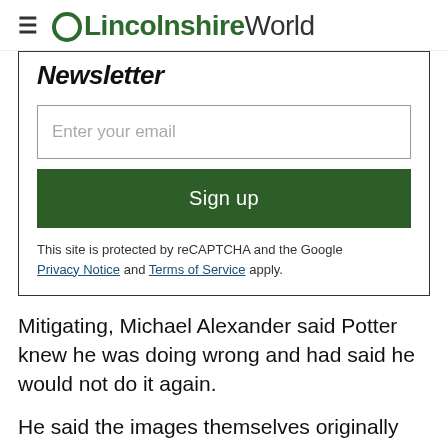OLincolnshireWorld
Newsletter
Enter your email
Sign up
This site is protected by reCAPTCHA and the Google Privacy Notice and Terms of Service apply.
Mitigating, Michael Alexander said Potter knew he was doing wrong and had said he would not do it again.
He said the images themselves originally were not illegal but that Potter, who he described